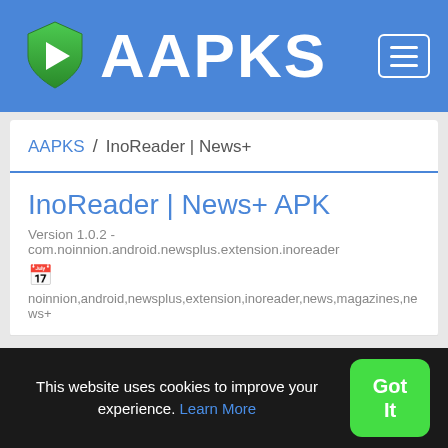AAPKS
AAPKS / InoReader | News+
InoReader | News+ APK
Version 1.0.2 - com.noinnion.android.newsplus.extension.inoreader
noinnion,android,newsplus,extension,inoreader,news,magazines,news+
APP Information
This website uses cookies to improve your experience. Learn More